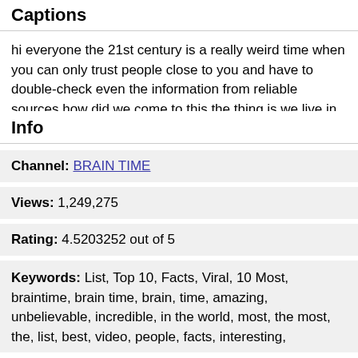Captions
hi everyone the 21st century is a really weird time when you can only trust people close to you and have to double-check even the information from reliable sources how did we come to this the thing is we live in an era of information today almost everyone has access to an unlimited amount of data we can use it and also created without bothering whether it's actually true or
Info
Channel: BRAIN TIME
Views: 1,249,275
Rating: 4.5203252 out of 5
Keywords: List, Top 10, Facts, Viral, 10 Most, braintime, brain time, brain, time, amazing, unbelievable, incredible, in the world, most, the most, the, list, best, video, people, facts, interesting,